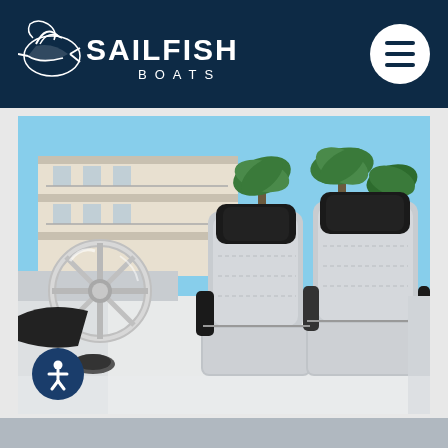[Figure (logo): Sailfish Boats logo — stylized marlin/sail emblem on the left, text 'SAILFISH' large and 'BOATS' smaller centered below, all in white on dark navy background. Hamburger menu icon (three horizontal lines) in a white circle on the right side of the header.]
[Figure (photo): Photograph of a boat interior showing a chrome steering wheel on the left and two large white/grey upholstered captain's chairs with black headrests in the center and right. Background shows a tropical waterfront building with palm trees and blue sky.]
[Figure (other): Accessibility icon — white person with arms outstretched inside a dark navy circle, positioned at lower left of the photo area.]